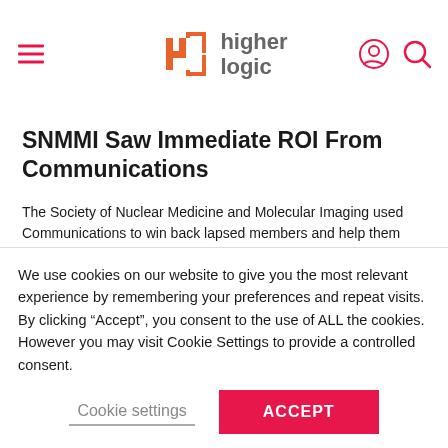Higher Logic
SNMMI Saw Immediate ROI From Communications
The Society of Nuclear Medicine and Molecular Imaging used Communications to win back lapsed members and help them navigate the cutting edge of their rapidly growing healthcare field. Also of InterestImplementation ServicesMember EngagementCustomer Marketing
We use cookies on our website to give you the most relevant experience by remembering your preferences and repeat visits. By clicking “Accept”, you consent to the use of ALL the cookies. However you may visit Cookie Settings to provide a controlled consent.
Cookie settings | ACCEPT